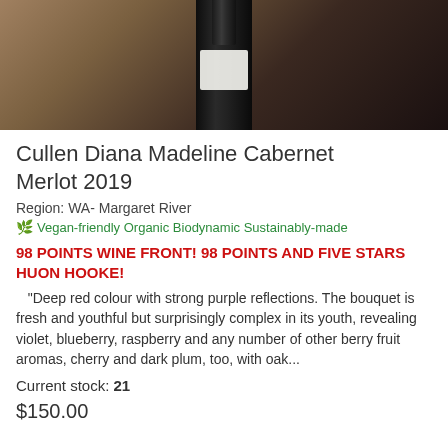[Figure (photo): Close-up photo of a dark wine bottle against a textured background]
Cullen Diana Madeline Cabernet Merlot 2019
Region: WA- Margaret River
🌿 Vegan-friendly Organic Biodynamic Sustainably-made
98 POINTS WINE FRONT! 98 POINTS AND FIVE STARS HUON HOOKE!
"Deep red colour with strong purple reflections. The bouquet is fresh and youthful but surprisingly complex in its youth, revealing violet, blueberry, raspberry and any number of other berry fruit aromas, cherry and dark plum, too, with oak...
Current stock: 21
$150.00